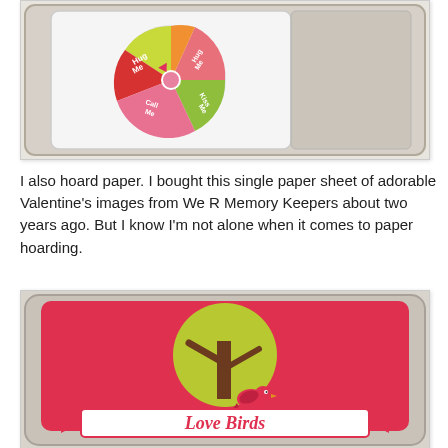[Figure (photo): A square metal tin with a colorful spinner wheel on its face. The spinner has colored wedges labeled 'Hug Me', 'Call Me', 'Kiss Me' with a pink spinner arrow in the center. Valentine's themed craft project.]
I also hoard paper. I bought this single paper sheet of adorable Valentine's images from We R Memory Keepers about two years ago. But I know I'm not alone when it comes to paper hoarding.
[Figure (photo): A square metal tin decorated with a pink/red background featuring a yellow-green circle, a brown tree, and a small red bird. A banner at the bottom reads 'Love Birds' in a handwritten style font. Valentine's themed craft project.]